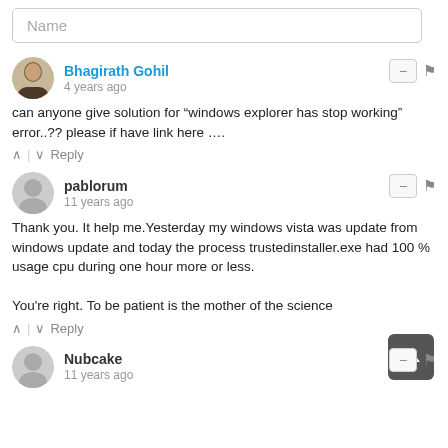Name
Bhagirath Gohil
4 years ago
can anyone give solution for “windows explorer has stop working” error..?? please if have link here ….
pablorum
11 years ago
Thank you. It help me.Yesterday my windows vista was update from windows update and today the process trustedinstaller.exe had 100 % usage cpu during one hour more or less.

You&#039re right. To be patient is the mother of the science
Nubcake
11 years ago